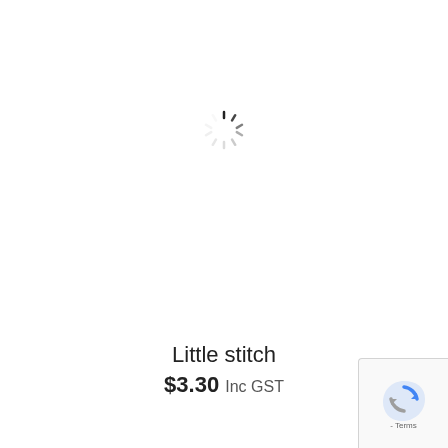[Figure (other): Loading spinner animation — circular array of short lines in dark to light gray showing a loading state]
Little stitch
$3.30 Inc GST
[Figure (logo): Google reCAPTCHA badge with blue and grey logo and - Terms text]